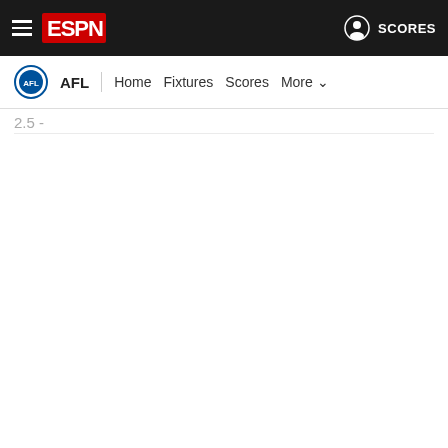ESPN - SCORES
AFL | Home | Fixtures | Scores | More
2 - Touk Miller (GC)
1.5 - Jackson Macrae (WB)
MELBOURNE VS. HAWTHORN
2.5 - Tom Mitchell (HAW)
2 - Clayton Oliver (MEL)
1 - Christian Petracca (MEL)
0.5 - Jack Viney (MEL)
NORTH MELBOURNE VS. ESSENDON
2 - Zach Merrett (ESS), Darcy Parish (ESS), Jake Stringer (ESS)
COLLINGWOOD VS. CARLTON